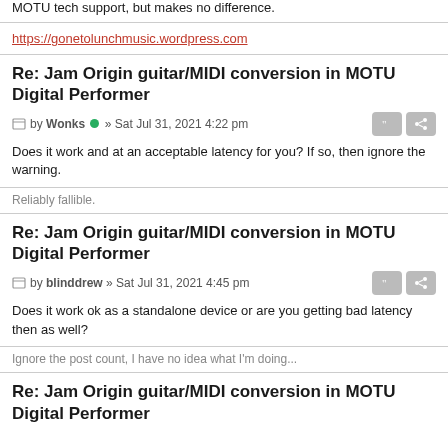MOTU tech support, but makes no difference.
https://gonetolunchmusic.wordpress.com
Re: Jam Origin guitar/MIDI conversion in MOTU Digital Performer
by Wonks • » Sat Jul 31, 2021 4:22 pm
Does it work and at an acceptable latency for you? If so, then ignore the warning.
Reliably fallible.
Re: Jam Origin guitar/MIDI conversion in MOTU Digital Performer
by blinddrew » Sat Jul 31, 2021 4:45 pm
Does it work ok as a standalone device or are you getting bad latency then as well?
Ignore the post count, I have no idea what I'm doing...
Re: Jam Origin guitar/MIDI conversion in MOTU Digital Performer